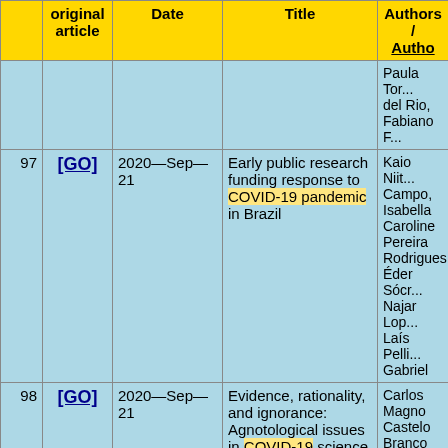|  | original article | Date | Title | Authors / Autho... |
| --- | --- | --- | --- | --- |
|  |  |  |  | Paula Tol... del Rio, Fabiano F... |
| 97 | [GO] | 2020—Sep—21 | Early public research funding response to COVID-19 pandemic in Brazil | Kaio Niit... Campo, Isabella Caroline Pereira Rodrigues, Éder Sócr... Najar Lop... Laís Pelli... Gabriel |
| 98 | [GO] | 2020—Sep—21 | Evidence, rationality, and ignorance: Agnotological issues in COVID-19 science | Carlos Magno Castelo Branco Fortaleza |
| 99 | [GO] | 2020—Sep—21 | Is it time to talk about the end of social distancing? A joinpoint analysis of COVID-19 time series in Brazilian capitals | Raphael Mendonç... Guimarãe... Mônica d... Avelar |